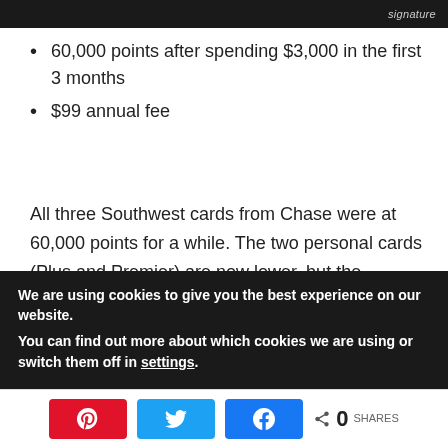[Figure (photo): Top black bar with word 'signature' partially visible on the right]
60,000 points after spending $3,000 in the first 3 months
$99 annual fee
All three Southwest cards from Chase were at 60,000 points for a while. The two personal cards (Plus and Premier) are now lower, but the business card is still offering this increased sign-up bonus. If you're going after the Companion Pass, the 60,000 point offer makes it even
We are using cookies to give you the best experience on our website.
You can find out more about which cookies we are using or switch them off in settings.
[Figure (infographic): Share bar with Pinterest (red), Twitter (blue), Facebook (blue) buttons and share count showing 0 SHARES]